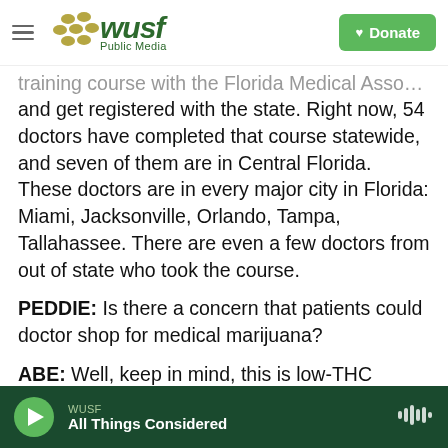WUSF Public Media | Donate
training course with the Florida Medical Association and get registered with the state. Right now, 54 doctors have completed that course statewide, and seven of them are in Central Florida. These doctors are in every major city in Florida: Miami, Jacksonville, Orlando, Tampa, Tallahassee. There are even a few doctors from out of state who took the course.
PEDDIE: Is there a concern that patients could doctor shop for medical marijuana?
ABE: Well, keep in mind, this is low-THC medical marijuana we're talking about right now, so
WUSF | All Things Considered